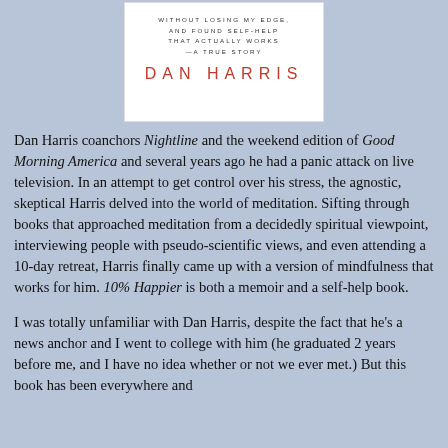[Figure (illustration): Book cover for '10% Happier' by Dan Harris showing text lines: 'WITHOUT LOSING MY EDGE, AND FOUND SELF-HELP THAT ACTUALLY WORKS —A TRUE STORY' with author name 'DAN HARRIS' in red]
Dan Harris coanchors Nightline and the weekend edition of Good Morning America and several years ago he had a panic attack on live television. In an attempt to get control over his stress, the agnostic, skeptical Harris delved into the world of meditation. Sifting through books that approached meditation from a decidedly spiritual viewpoint, interviewing people with pseudo-scientific views, and even attending a 10-day retreat, Harris finally came up with a version of mindfulness that works for him. 10% Happier is both a memoir and a self-help book.
I was totally unfamiliar with Dan Harris, despite the fact that he's a news anchor and I went to college with him (he graduated 2 years before me, and I have no idea whether or not we ever met.) But this book has been everywhere and